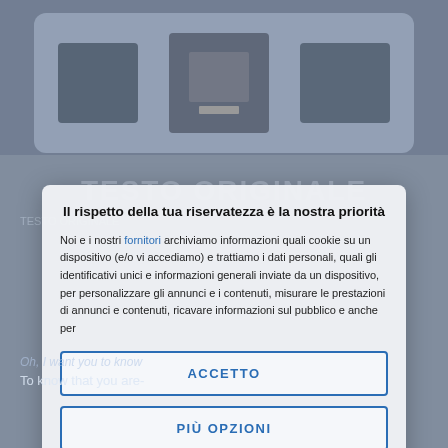[Figure (screenshot): Top section showing album art thumbnails in a dark blue-grey card area]
Il rispetto della tua riservatezza è la nostra priorità
Noi e i nostri fornitori archiviamo informazioni quali cookie su un dispositivo (e/o vi accediamo) e trattiamo i dati personali, quali gli identificativi unici e informazioni generali inviate da un dispositivo, per personalizzare gli annunci e i contenuti, misurare le prestazioni di annunci e contenuti, ricavare informazioni sul pubblico e anche per
ACCETTO
PIÙ OPZIONI
Oh, I want you to know
To know that you are-